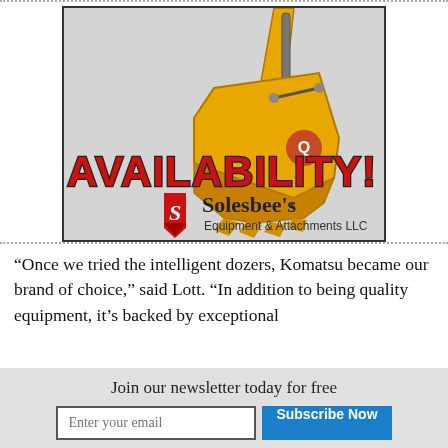[Figure (illustration): Solesbee's Equipment & Attachments LLC advertisement showing a yellow excavator bucket on a gray background with large red bold text 'AVAILABILITY!' and the company logo with red shield/ribbon and company name.]
“Once we tried the intelligent dozers, Komatsu became our brand of choice,” said Lott. “In addition to being quality equipment, it’s backed by exceptional
Join our newsletter today for free